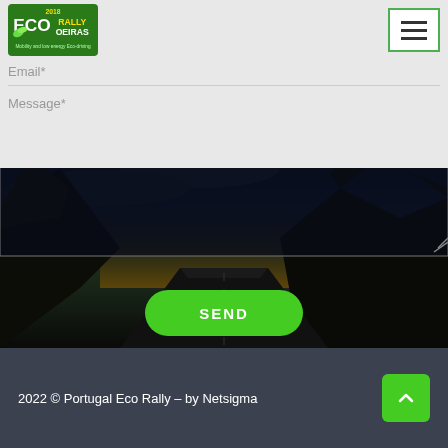[Figure (logo): ECO Rally Oeiras 2018 green logo with yellow text]
Email*
Message*
[Figure (photo): Dark nighttime mountain road scenic photograph used as background]
SEND
2022 © Portugal Eco Rally – by Netsigma